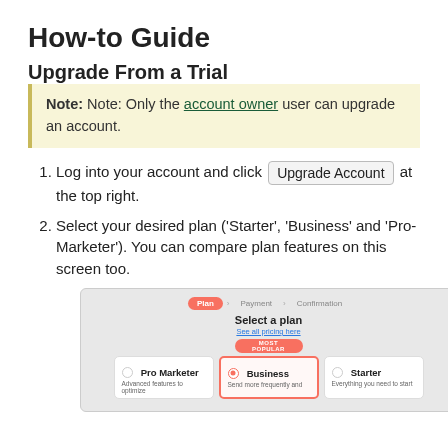How-to Guide
Upgrade From a Trial
Note: Note: Only the account owner user can upgrade an account.
Log into your account and click Upgrade Account at the top right.
Select your desired plan ('Starter', 'Business' and 'Pro-Marketer'). You can compare plan features on this screen too.
[Figure (screenshot): Screenshot of a 'Select a plan' UI showing a Plan > Payment > Confirmation breadcrumb, with three plan options: Pro Marketer, Business (selected, marked as Most Popular with orange badge), and Starter.]